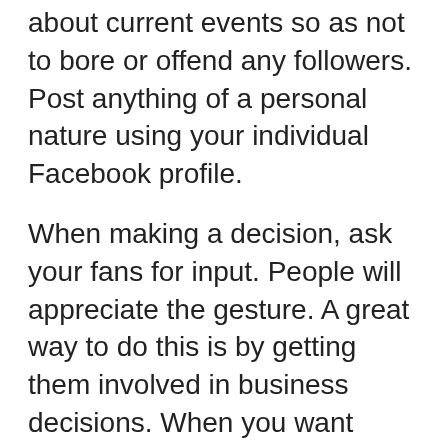about current events so as not to bore or offend any followers. Post anything of a personal nature using your individual Facebook profile.
When making a decision, ask your fans for input. People will appreciate the gesture. A great way to do this is by getting them involved in business decisions. When you want advice on topics to cover on your blog, just ask!
Don't use sub-standard photos when you are adding them to a Facebook page. People will get a good sense of your business from these photos. If you want to take photos that are personal, you need to use a camera that's high in quality. Avoid posting something that makes people think